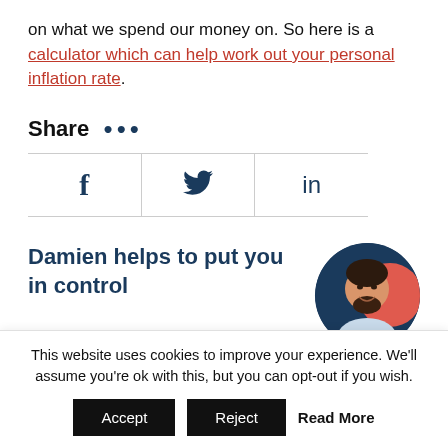on what we spend our money on. So here is a calculator which can help work out your personal inflation rate.
Share •••
[Figure (infographic): Social sharing icons for Facebook (f), Twitter (bird icon), and LinkedIn (in) displayed in a horizontal table with borders]
Damien helps to put you in control
[Figure (photo): Circular profile photo of Damien, a man with dark beard and hair, smiling, against a navy blue and red background]
This website uses cookies to improve your experience. We'll assume you're ok with this, but you can opt-out if you wish.
Accept   Reject   Read More